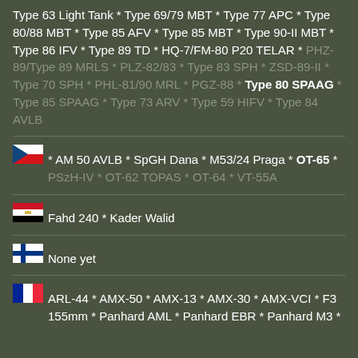Type 63 Light Tank * Type 69/79 MBT * Type 77 APC * Type 80/88 MBT * Type 85 AFV * Type 85 MBT * Type 90-II MBT * Type 86 IFV * Type 89 TD * HQ-7/FM-80 P20 TELAR * PHZ-89/Type 89 MRLS * PLZ-82/83 * Type 83 SPH * ZSD-89-II * Type 70 SPH * PHL-81/90 MRL * PGZ-88 * Type 80 SPAAG * Type 85 SPAAG * Type 73 ARV * Type 59 HIFV * Type 84 AVLB
Czech Republic: AM 50 AVLB * SpGH Dana * M53/24 Praga * OT-65 * PSzH-IV * OT-62 TOPAS * OT-64 * VT-55A
Egypt: Fahd 240 * Kader Walid
Finland: None yet
France: ARL-44 * AMX-50 * AMX-13 * AMX-30 * AMX-VCI * F3 155mm * Panhard AML * Panhard EBR * Panhard M3 *